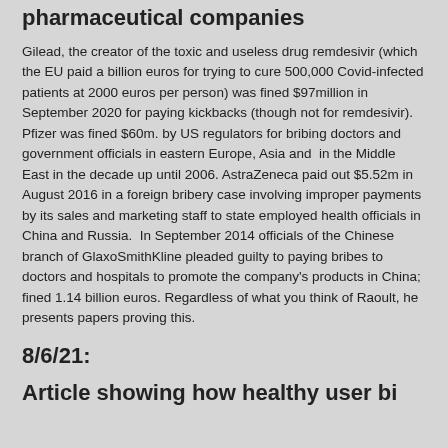pharmaceutical companies
Gilead, the creator of the toxic and useless drug remdesivir (which the EU paid a billion euros for trying to cure 500,000 Covid-infected patients at 2000 euros per person) was fined $97million in September 2020 for paying kickbacks (though not for remdesivir). Pfizer was fined $60m. by US regulators for bribing doctors and government officials in eastern Europe, Asia and in the Middle East in the decade up until 2006. AstraZeneca paid out $5.52m in August 2016 in a foreign bribery case involving improper payments by its sales and marketing staff to state employed health officials in China and Russia. In September 2014 officials of the Chinese branch of GlaxoSmithKline pleaded guilty to paying bribes to doctors and hospitals to promote the company's products in China; fined 1.14 billion euros. Regardless of what you think of Raoult, he presents papers proving this.
8/6/21:
Article showing how healthy user bias produces confusing results in